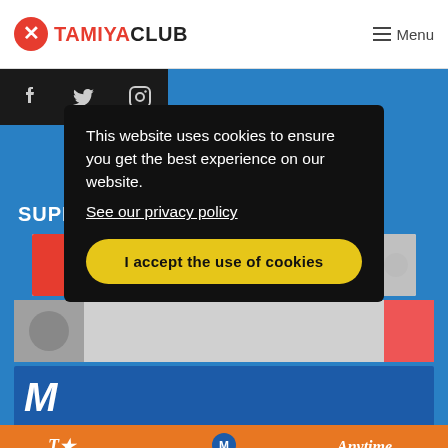TAMIYACLUB — Menu
[Figure (screenshot): Social media icon buttons: Facebook, Twitter, Instagram on dark background squares]
SUPPORTED BY
[Figure (screenshot): Sponsor logos strip including red F logo, blue badge, and other sponsor images]
[Figure (screenshot): Cookie consent overlay: 'This website uses cookies to ensure you get the best experience on our website. See our privacy policy. I accept the use of cookies button.']
[Figure (screenshot): Orange sponsor strip at bottom with logos]